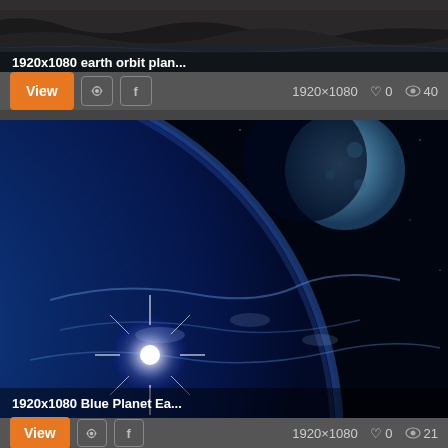[Figure (screenshot): Screenshot of a wallpaper website showing earth orbit planet wallpaper thumbnail (dark landscape with water reflection), labeled '1920x1080 earth orbit plan...']
View  ♡ 0  👁 0  1920×1080  ♡ 0  👁 40
[Figure (photo): Blue Planet Earth from space wallpaper showing Earth with blue atmosphere, moon in upper right, bright star/sun flare at lower left, black space background. Labeled '1920x1080 Blue Planet Ea...']
View  1920×1080  ♡ 0  👁 21